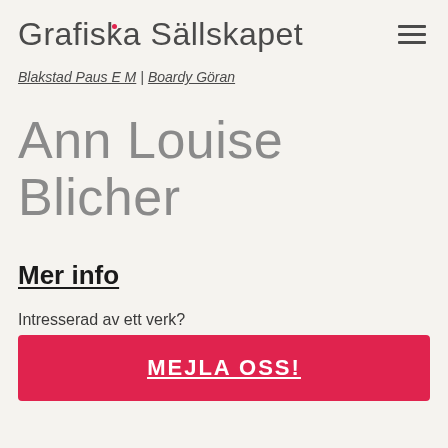Grafiska Sällskapet
Blakstad Paus E M | Boardy Göran
Ann Louise Blicher
Mer info
Intresserad av ett verk?
MEJLA OSS!